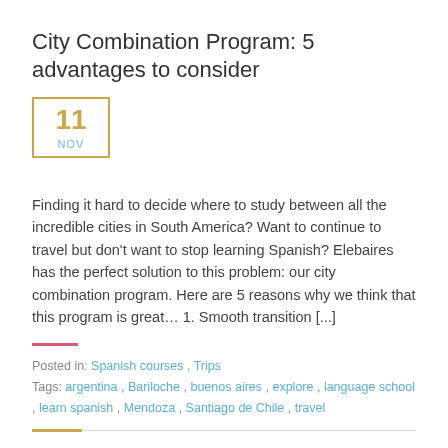City Combination Program: 5 advantages to consider
[Figure (other): Date badge showing 11 NOV with gold border]
Finding it hard to decide where to study between all the incredible cities in South America? Want to continue to travel but don't want to stop learning Spanish? Elebaires has the perfect solution to this problem: our city combination program. Here are 5 reasons why we think that this program is great… 1. Smooth transition [...]
Posted in: Spanish courses , Trips
Tags: argentina , Bariloche , buenos aires , explore , language school , learn spanish , Mendoza , Santiago de Chile , travel